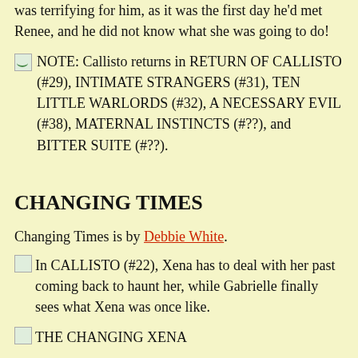was terrifying for him, as it was the first day he'd met Renee, and he did not know what she was going to do!
NOTE: Callisto returns in RETURN OF CALLISTO (#29), INTIMATE STRANGERS (#31), TEN LITTLE WARLORDS (#32), A NECESSARY EVIL (#38), MATERNAL INSTINCTS (#??), and BITTER SUITE (#??).
CHANGING TIMES
Changing Times is by Debbie White.
In CALLISTO (#22), Xena has to deal with her past coming back to haunt her, while Gabrielle finally sees what Xena was once like.
THE CHANGING XENA